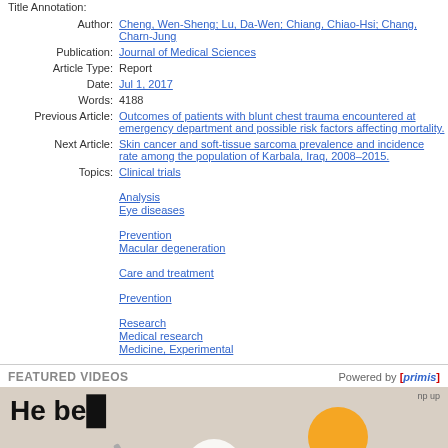Title Annotation:
| Author: | Cheng, Wen-Sheng; Lu, Da-Wen; Chiang, Chiao-Hsi; Chang, Charn-Jung |
| Publication: | Journal of Medical Sciences |
| Article Type: | Report |
| Date: | Jul 1, 2017 |
| Words: | 4188 |
| Previous Article: | Outcomes of patients with blunt chest trauma encountered at emergency department and possible risk factors affecting mortality. |
| Next Article: | Skin cancer and soft-tissue sarcoma prevalence and incidence rate among the population of Karbala, Iraq, 2008-2015. |
| Topics: | Clinical trials
Analysis
Eye diseases
Prevention
Macular degeneration
Care and treatment
Prevention
Research
Medical research
Medicine, Experimental |
FEATURED VIDEOS
[Figure (screenshot): Video thumbnail showing a hand holding a pen writing 'He be...' with an illustrated figure in the background and a play button overlay]